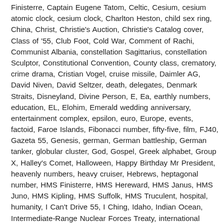Finisterre, Captain Eugene Tatom, Celtic, Cesium, cesium atomic clock, cesium clock, Charlton Heston, child sex ring, China, Christ, Christie's Auction, Christie's Catalog cover, Class of '55, Club Foot, Cold War, Comment of Rachi, Communist Albania, constellation Sagittarius, constellation Sculptor, Constitutional Convention, County class, crematory, crime drama, Cristian Vogel, cruise missile, Daimler AG, David Niven, David Seltzer, death, delegates, Denmark Straits, Disneyland, Divine Person, E, Ea, earthly numbers, education, EL, Elohim, Emerald wedding anniversary, entertainment complex, epsilon, euro, Europe, events, factoid, Faroe Islands, Fibonacci number, fifty-five, film, FJ40, Gazeta 55, Genesis, german, German battleship, German tanker, globular cluster, God, Gospel, Greek alphabet, Group X, Halley's Comet, Halloween, Happy Birthday Mr President, heavenly numbers, heavy cruiser, Hebrews, heptagonal number, HMS Finisterre, HMS Hereward, HMS Janus, HMS Juno, HMS Kipling, HMS Suffolk, HMS Truculent, hospital, humanity, I Can't Drive 55, I Ching, Idaho, Indian Ocean, Intermediate-Range Nuclear Forces Treaty, international direct dial, investigators, Italy, Jah, Japan, Japanese, Jeeps, Jehovah, John Archer, José Saramago, K55, K55 Sport Coupe, Kaprekar number,